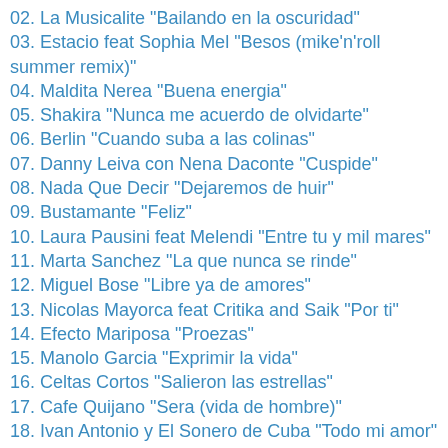02. La Musicalite "Bailando en la oscuridad"
03. Estacio feat Sophia Mel "Besos (mike'n'roll summer remix)"
04. Maldita Nerea "Buena energia"
05. Shakira "Nunca me acuerdo de olvidarte"
06. Berlin "Cuando suba a las colinas"
07. Danny Leiva con Nena Daconte "Cuspide"
08. Nada Que Decir "Dejaremos de huir"
09. Bustamante "Feliz"
10. Laura Pausini feat Melendi "Entre tu y mil mares"
11. Marta Sanchez "La que nunca se rinde"
12. Miguel Bose "Libre ya de amores"
13. Nicolas Mayorca feat Critika and Saik "Por ti"
14. Efecto Mariposa "Proezas"
15. Manolo Garcia "Exprimir la vida"
16. Celtas Cortos "Salieron las estrellas"
17. Cafe Quijano "Sera (vida de hombre)"
18. Ivan Antonio y El Sonero de Cuba "Todo mi amor"
19. JenCarlos Canela feat J Balvin "Tu sombra"
20. Ruth Lorenzo "Gigantes"
21. Angel and Khriz "Wepa"
22. Alexander Rod "Y solo quiero bailar"